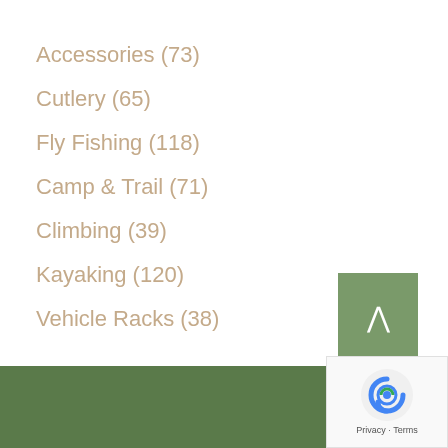Accessories (73)
Cutlery (65)
Fly Fishing (118)
Camp & Trail (71)
Climbing (39)
Kayaking (120)
Vehicle Racks (38)